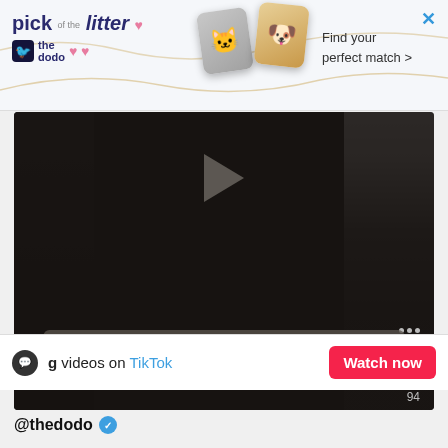[Figure (screenshot): Advertisement banner for 'The Dodo' pet adoption app — 'pick of the litter' with heart icons, pet photos (cat and dog cards), and 'Find your perfect match >' tagline, with blue X close button]
[Figure (screenshot): Dark video thumbnail with play button overlay and 'Watch anyway' button centered near bottom, with side interaction icons (dots, number 16, number 94)]
g videos on TikTok
Watch now
@thedodo